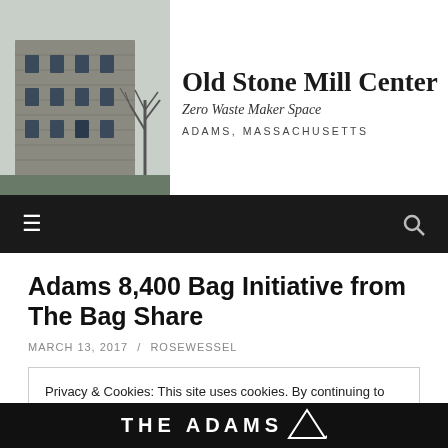[Figure (photo): Photo of an old stone mill building with bare winter trees, used as website header background]
Old Stone Mill Center
Zero Waste Maker Space
ADAMS, MASSACHUSETTS
[Figure (other): Navigation bar with hamburger menu icon on left and search icon on right, dark background]
Adams 8,400 Bag Initiative from The Bag Share
MARCH 13, 2017 / ROSEWESSEL
Privacy & Cookies: This site uses cookies. By continuing to use this website, you agree to their use.
To find out more, including how to control cookies, see here: Cookie Policy
Close and accept
[Figure (other): Bottom partial banner showing text THE ADAMS with decorative elements]